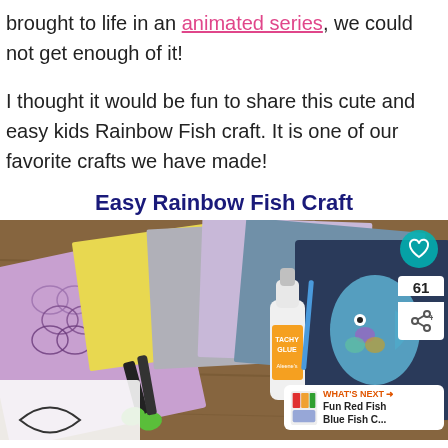brought to life in an animated series, we could not get enough of it!
I thought it would be fun to share this cute and easy kids Rainbow Fish craft. It is one of our favorite crafts we have made!
Easy Rainbow Fish Craft
[Figure (photo): Craft supplies laid out on a wooden table: colored paper sheets (yellow, gray, purple, blue), glitter fish scale paper, scissors with green handles, a bottle of Aleene's Tacky Glue, and a Rainbow Fish book/image. UI overlays include a teal heart button, share count of 61, share icon, and a 'What's Next' card for 'Fun Red Fish Blue Fish C...']